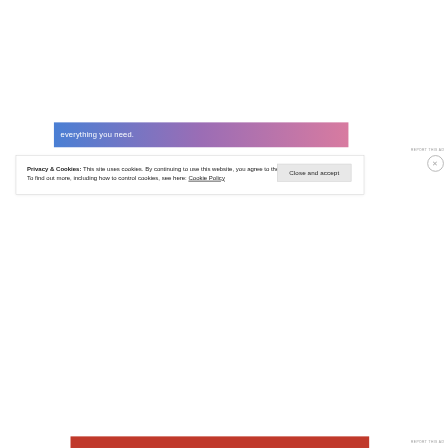[Figure (other): Advertisement banner with gradient background (blue to purple to pink) containing the text 'everything you need.' in white]
REPORT THIS AD
Privacy & Cookies: This site uses cookies. By continuing to use this website, you agree to their use.
To find out more, including how to control cookies, see here: Cookie Policy